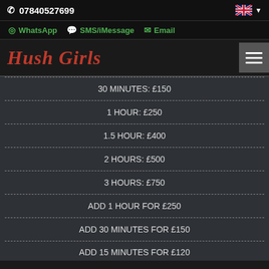07840527699
WhatsApp  SMS/iMessage  Email
Hush Girls
30 MINUTES: £150
1 HOUR: £250
1.5 HOUR: £400
2 HOURS: £500
3 HOURS: £750
ADD 1 HOUR FOR £250
ADD 30 MINUTES FOR £150
ADD 15 MINUTES FOR £120